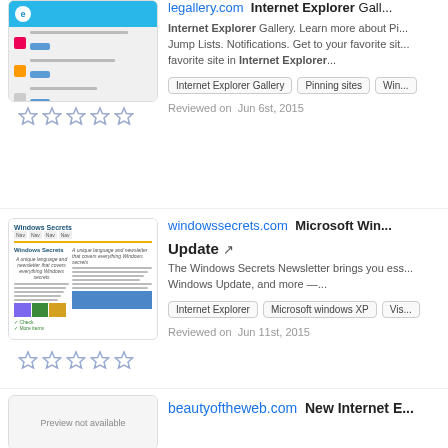[Figure (screenshot): Thumbnail screenshot of Internet Explorer Gallery website]
[Figure (other): Five empty star rating icons]
legallery.com  Internet Explorer Gallery. Learn more about Pinning sites. Jump Lists. Notifications. Get to your favorite site in Internet Explorer...
Internet Explorer Gallery
Pinning sites
Win...
Reviewed on  Jun 6st, 2015
[Figure (screenshot): Thumbnail screenshot of Windows Secrets website]
[Figure (other): Five empty star rating icons]
windowssecrets.com  Microsoft Windows Update  The Windows Secrets Newsletter brings you essential information about Windows Update, and more —...
Internet Explorer
Microsoft windows XP
Vis...
Reviewed on  Jun 11st, 2015
[Figure (other): Preview not available thumbnail placeholder]
beautyoftheweb.com  New Internet E...